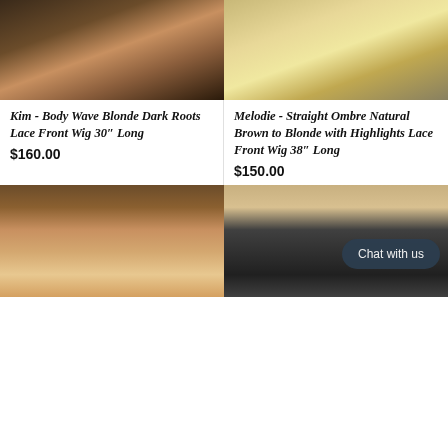[Figure (photo): Mannequin head with body wave blonde dark roots wig on a stand, studio background]
[Figure (photo): Mannequin head with straight ombre natural brown to blonde wig with highlights on a stand]
Kim - Body Wave Blonde Dark Roots Lace Front Wig 30″ Long
$160.00
Melodie - Straight Ombre Natural Brown to Blonde with Highlights Lace Front Wig 38″ Long
$150.00
[Figure (photo): Mannequin wearing a blonde lace front wig in a wig shop with multiple wigs on shelves in background]
[Figure (photo): Mannequin wearing a wig in shop with blonde and dark wigs visible in background, Chat with us button overlay]